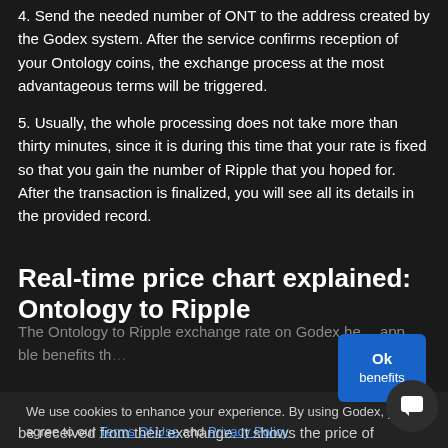4. Send the needed number of ONT to the address created by the Godex system. After the service confirms reception of your Ontology coins, the exchange process at the most advantageous terms will be triggered.
5. Usually, the whole processing does not take more than thirty minutes, since it is during this time that your rate is fixed so that you gain the number of Ripple that you hoped for. After the transaction is finalized, you will see all its details in the provided record.
Real-time price chart explained: Ontology to Ripple
The Ontology to Ripple exchange rate on Godex he app... ble benefits th
be received from their exchange. It shows the price of
We use cookies to enhance your experience. By using Godex, you agree to our Terms Of Use and Privacy Policy